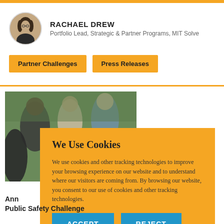[Figure (photo): Circular avatar photo of Rachael Drew]
RACHAEL DREW
Portfolio Lead, Strategic & Partner Programs, MIT Solve
Partner Challenges
Press Releases
[Figure (photo): Outdoor photo of people in a group setting]
We Use Cookies
We use cookies and other tracking technologies to improve your browsing experience on our website and to understand where our visitors are coming from. By browsing our website, you consent to our use of cookies and other tracking technologies.
ACCEPT
REJECT
Ann
Public Safety Challenge